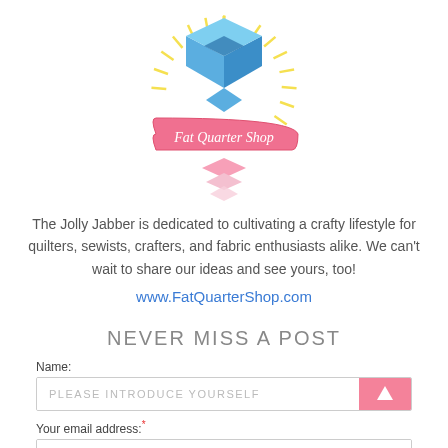[Figure (logo): Fat Quarter Shop logo: a geometric quilted star/cube shape in blue with yellow rays radiating behind it, and a pink ribbon banner reading 'Fat Quarter Shop' across the center]
The Jolly Jabber is dedicated to cultivating a crafty lifestyle for quilters, sewists, crafters, and fabric enthusiasts alike. We can't wait to share our ideas and see yours, too!
www.FatQuarterShop.com
NEVER MISS A POST
Name:
PLEASE INTRODUCE YOURSELF
Your email address:*
HOW CAN WE REACH YOU?